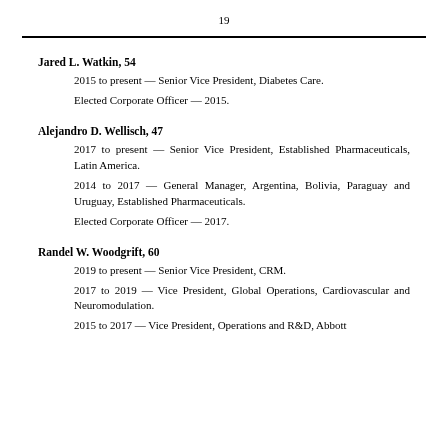19
Jared L. Watkin, 54
2015 to present — Senior Vice President, Diabetes Care.
Elected Corporate Officer — 2015.
Alejandro D. Wellisch, 47
2017 to present — Senior Vice President, Established Pharmaceuticals, Latin America.
2014 to 2017 — General Manager, Argentina, Bolivia, Paraguay and Uruguay, Established Pharmaceuticals.
Elected Corporate Officer — 2017.
Randel W. Woodgrift, 60
2019 to present — Senior Vice President, CRM.
2017 to 2019 — Vice President, Global Operations, Cardiovascular and Neuromodulation.
2015 to 2017 — Vice President, Operations and R&D, Abbott